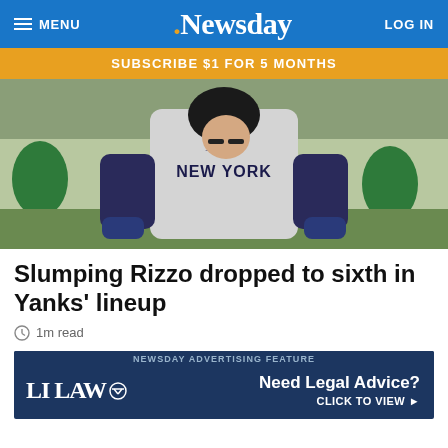MENU | Newsday | LOG IN
SUBSCRIBE $1 FOR 5 MONTHS
[Figure (photo): A New York Yankees baseball player wearing gray road uniform with 'NEW YORK' text, batting helmet, eye black, standing with hands on hips looking upward, with crowd and green-uniformed players in background]
Slumping Rizzo dropped to sixth in Yanks' lineup
1m read
[Figure (screenshot): Newsday Advertising Feature banner for LI LAW with text 'Need Legal Advice? CLICK TO VIEW']